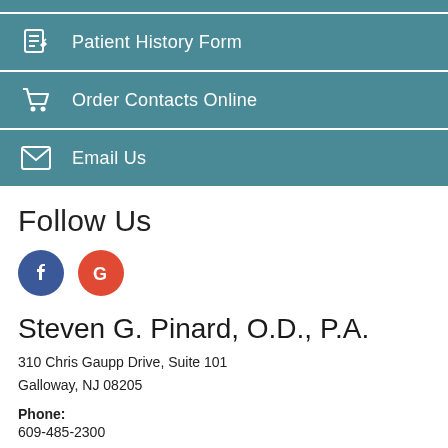Patient History Form
Order Contacts Online
Email Us
Follow Us
[Figure (logo): Facebook logo circle (blue) and Google logo circle (red/orange)]
Steven G. Pinard, O.D., P.A.
310 Chris Gaupp Drive, Suite 101
Galloway, NJ 08205
Phone:
609-485-2300